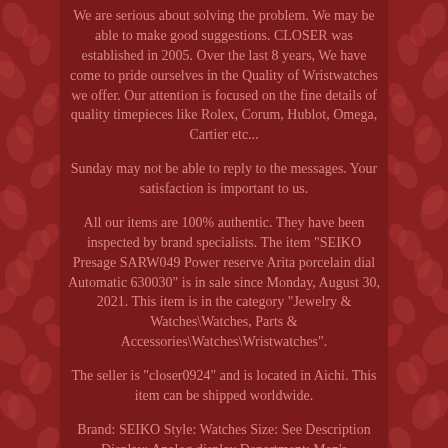We are serious about solving the problem. We may be able to make good suggestions. CLOSER was established in 2005. Over the last 8 years, We have come to pride ourselves in the Quality of Wristwatches we offer. Our attention is focused on the fine details of quality timepieces like Rolex, Corum, Hublot, Omega, Cartier etc...
Sunday may not be able to reply to the messages. Your satisfaction is important to us.
All our items are 100% authentic. They have been inspected by brand specialists. The item "SEIKO Presage SARW049 Power reserve Arita porcelain dial Automatic 630030" is in sale since Monday, August 30, 2021. This item is in the category "Jewelry & Watches\Watches, Parts & Accessories\Watches\Wristwatches".
The seller is "closer0924" and is located in Aichi. This item can be shipped worldwide.
Brand: SEIKO Style: Watches Size: See Description Display: Analog display Department: Men's